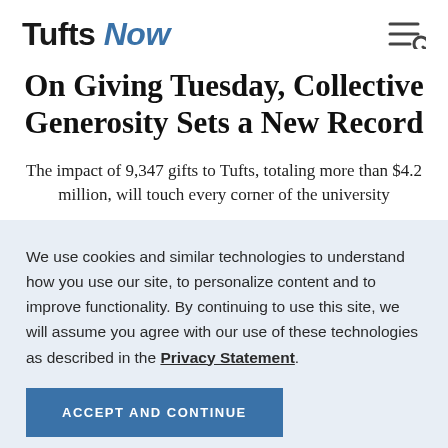Tufts Now
On Giving Tuesday, Collective Generosity Sets a New Record
The impact of 9,347 gifts to Tufts, totaling more than $4.2 million, will touch every corner of the university
We use cookies and similar technologies to understand how you use our site, to personalize content and to improve functionality. By continuing to use this site, we will assume you agree with our use of these technologies as described in the Privacy Statement.
ACCEPT AND CONTINUE